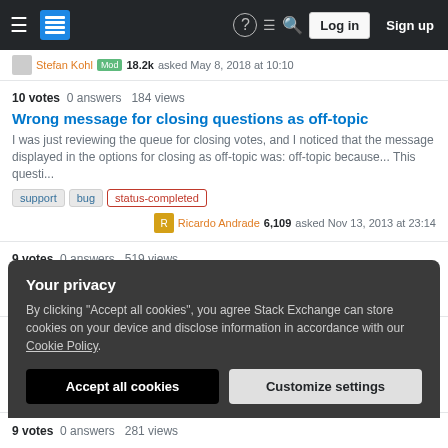Stack Exchange navigation bar with hamburger menu, logo, help, chat, search icons, Log in and Sign up buttons
Stefan Kohl Mod 18.2k asked May 8, 2018 at 10:10
10 votes  0 answers  184 views
Wrong message for closing questions as off-topic
I was just reviewing the queue for closing votes, and I noticed that the message displayed in the options for closing as off-topic was: off-topic because... This questi...
support
bug
status-completed
Ricardo Andrade 6,109 asked Nov 13, 2013 at 23:14
9 votes  0 answers  519 views
Rationale for reputation change on "my" reputation page that
Your privacy
By clicking "Accept all cookies", you agree Stack Exchange can store cookies on your device and disclose information in accordance with our Cookie Policy.
Accept all cookies
Customize settings
9 votes  0 answers  281 views